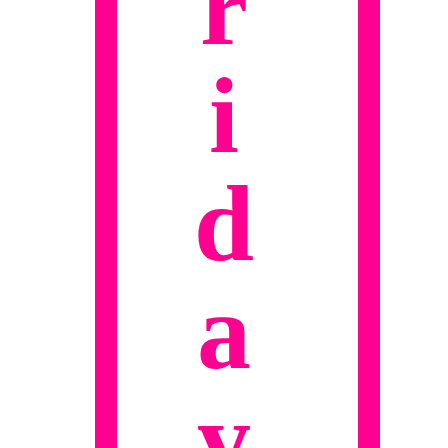[Figure (illustration): Decorative page with two vertical hot pink bars on left and right sides, and the word 'Friday:' displayed vertically in large bold hot pink serif font in the center column.]
Friday: